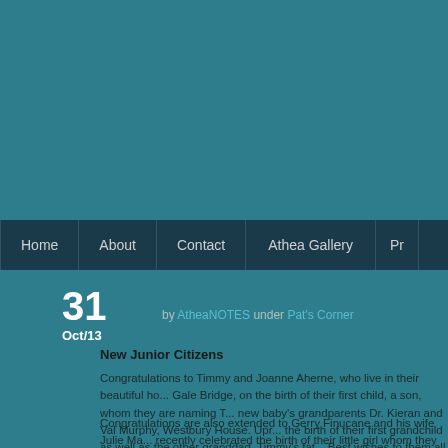[Figure (screenshot): Website header with teal/dark teal background]
Home | About | Contact | Athea Gallery | P...
31
Oct/13
by AtheaNOTES under Pat's Corner
New Junior Citizens
Congratulations to Timmy and Joanne Aherne, who live in their beautiful ho... Gale Bridge, on the birth of their first child, a son, whom they are naming T... new baby's grandparents Dr. Kieran and Val Murphy, Westbury House. Upr... the birth of their first grandchild as well as the other granddad, Timmy's fat... Best wishes to them all. May their new boy bring them all much happiness...
Congratulations are also extended to Gerry Finucane and his wife Julie Ma... recently celebrated the birth of their little girl whom they have named Kayle... and Dylan are delighted with their new sister. Congratulations also to the gr... Barrett, Templeathea.